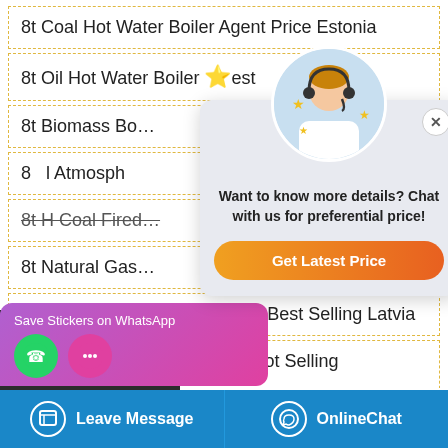8t Coal Hot Water Boiler Agent Price Estonia
8t Oil Hot Water Boiler Best … sia
8t Biomass Bo…
8t Atmosph … ency
8t H Coal Fired…
8t Natural Gas…
8t Energy Saving Boiler Brand Best Selling Latvia
8t Biomass Hot Water Boiler Hot Selling Kazakhstan
Supplier Energy Saving Ukraine
[Figure (screenshot): Chat popup with agent avatar, text 'Want to know more details? Chat with us for preferential price!' and orange 'Get Latest Price' button]
[Figure (infographic): Left side panel with Chat, Email, Contact icons in dark background]
[Figure (screenshot): WhatsApp Save Stickers banner with green and pink icons]
Leave Message   OnlineChat